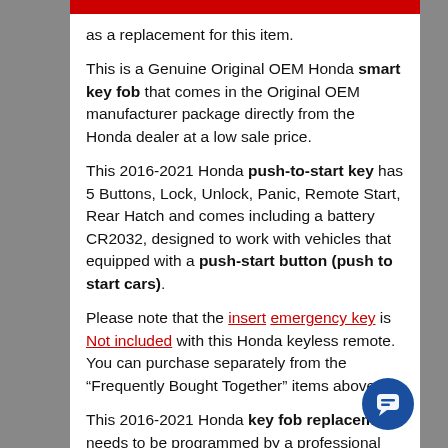as a replacement for this item.
This is a Genuine Original OEM Honda smart key fob that comes in the Original OEM manufacturer package directly from the Honda dealer at a low sale price.
This 2016-2021 Honda push-to-start key has 5 Buttons, Lock, Unlock, Panic, Remote Start, Rear Hatch and comes including a battery CR2032, designed to work with vehicles that equipped with a push-start button (push to start cars).
Please note that the insert emergency key is Not included with this Honda keyless remote. You can purchase separately from the “Frequently Bought Together” items above.
This 2016-2021 Honda key fob replacement needs to be programmed by a professional automotive locksmith or a local car dealer and the